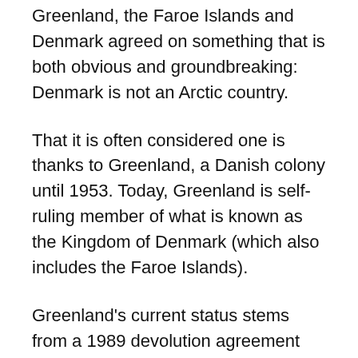Greenland, the Faroe Islands and Denmark agreed on something that is both obvious and groundbreaking: Denmark is not an Arctic country.
That it is often considered one is thanks to Greenland, a Danish colony until 1953. Today, Greenland is self-ruling member of what is known as the Kingdom of Denmark (which also includes the Faroe Islands).
Greenland's current status stems from a 1989 devolution agreement with the Danes that allows Nuuk to assume responsibility for whichever domestic policy areas it feels it can manage (and afford). Crucially the agreement also leaves any decision about independence up to the people of